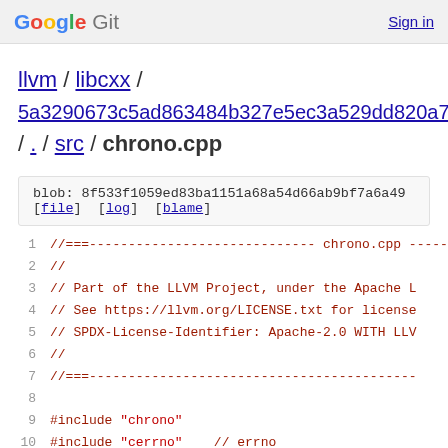Google Git  Sign in
llvm / libcxx / 5a3290673c5ad863484b327e5ec3a529dd820a73 / . / src / chrono.cpp
blob: 8f533f1059ed83ba1151a68a54d66ab9bf7a6a49
[file] [log] [blame]
1   //===----------------------------- chrono.cpp -----
2   //
3   // Part of the LLVM Project, under the Apache L
4   // See https://llvm.org/LICENSE.txt for license
5   // SPDX-License-Identifier: Apache-2.0 WITH LLV
6   //
7   //===------------------------------------------
8   
9   #include "chrono"
10  #include "cerrno"    // errno